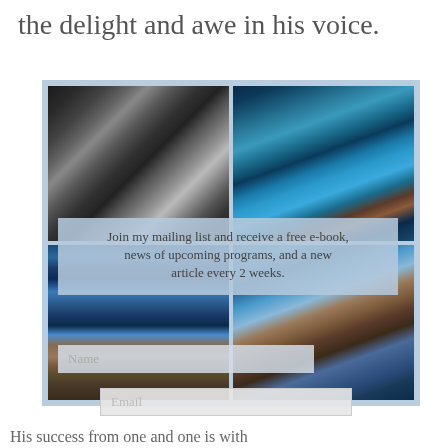the delight and awe in his voice.
[Figure (photo): 2x2 grid of satellite/aerial photographs: top-left shows snow-covered mountains from above in black and white tones; top-right shows a coral reef or coastal area with turquoise water and dark ocean; bottom-left shows ocean swirls and a coastline from space; bottom-right shows a coastal landmass with white cloud or sediment plume in blue water.]
Join my mailing list and receive a free e-book, news of upcoming programs, and a new article every 2 weeks.
Name
Email
His success from one and one is with